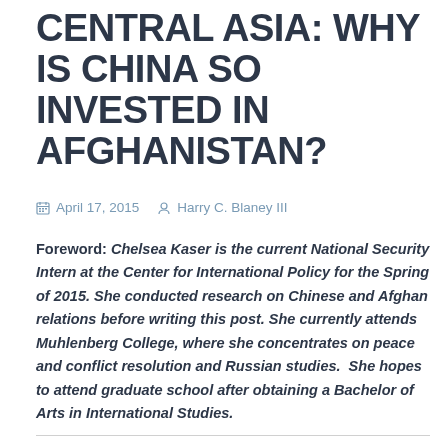CENTRAL ASIA: WHY IS CHINA SO INVESTED IN AFGHANISTAN?
April 17, 2015   Harry C. Blaney III
Foreword: Chelsea Kaser is the current National Security Intern at the Center for International Policy for the Spring of 2015. She conducted research on Chinese and Afghan relations before writing this post. She currently attends Muhlenberg College, where she concentrates on peace and conflict resolution and Russian studies.  She hopes to attend graduate school after obtaining a Bachelor of Arts in International Studies.